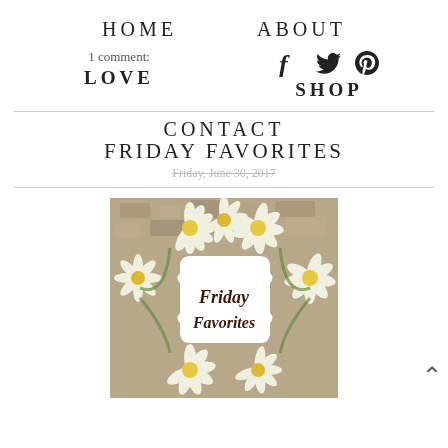HOME   ABOUT
1 comment:   LOVE   [social icons: facebook, twitter, pinterest]   SHOP
CONTACT
FRIDAY FAVORITES
Friday, June 30, 2017
[Figure (photo): Photo of white daisy flowers arranged in a wreath on a stone/gravel background, with a decorative white label in the center reading 'Friday Favorites' in cursive script]